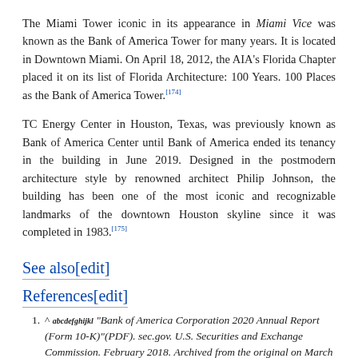The Miami Tower iconic in its appearance in Miami Vice was known as the Bank of America Tower for many years. It is located in Downtown Miami. On April 18, 2012, the AIA's Florida Chapter placed it on its list of Florida Architecture: 100 Years. 100 Places as the Bank of America Tower.[174]
TC Energy Center in Houston, Texas, was previously known as Bank of America Center until Bank of America ended its tenancy in the building in June 2019. Designed in the postmodern architecture style by renowned architect Philip Johnson, the building has been one of the most iconic and recognizable landmarks of the downtown Houston skyline since it was completed in 1983.[175]
See also[edit]
References[edit]
^ abcdefghijkl "Bank of America Corporation 2020 Annual Report (Form 10-K)"(PDF). sec.gov. U.S. Securities and Exchange Commission. February 2018. Archived from the original on March 3, 2018. Retrieved April 2, 2020.